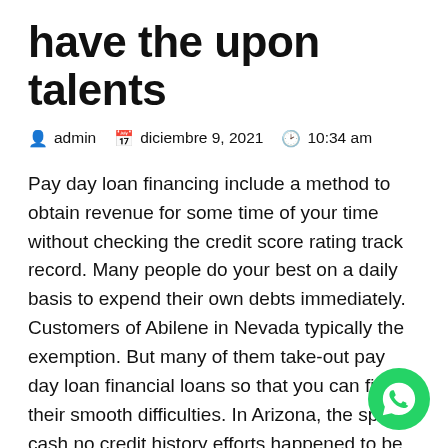have the upon talents
admin   diciembre 9, 2021   10:34 am
Pay day loan financing include a method to obtain revenue for some time of your time without checking the credit score rating track record. Many people do your best on a daily basis to expend their own debts immediately. Customers of Abilene in Nevada typically the exemption. But many of them take-out pay day loan financial loans so that you can fix their smooth difficulties. In Arizona, the spend cash no credit history efforts happened to be readily available for their consumers. The loaning are supplied through to the big go out of